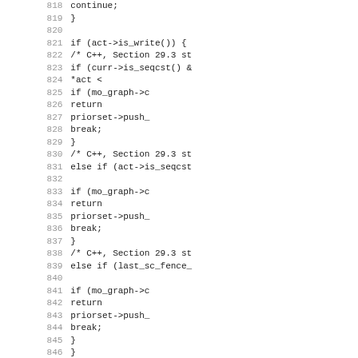Source code listing, lines 818-850, showing C++ memory model implementation with sequential consistency checks and priorset operations.